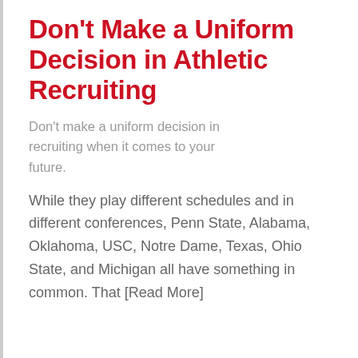Don't Make a Uniform Decision in Athletic Recruiting
Don't make a uniform decision in recruiting when it comes to your future.
While they play different schedules and in different conferences, Penn State, Alabama, Oklahoma, USC, Notre Dame, Texas, Ohio State, and Michigan all have something in common. That [Read More]